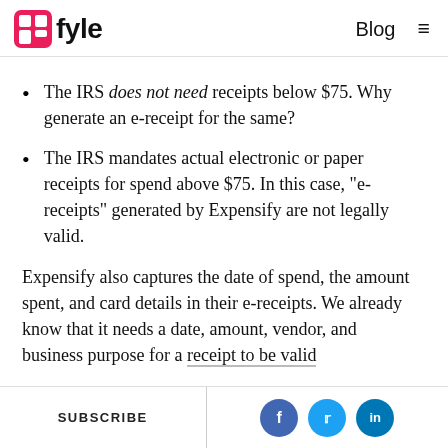Fyle | Blog
The IRS does not need receipts below $75. Why generate an e-receipt for the same?
The IRS mandates actual electronic or paper receipts for spend above $75. In this case, “e-receipts” generated by Expensify are not legally valid.
Expensify also captures the date of spend, the amount spent, and card details in their e-receipts. We already know that it needs a date, amount, vendor, and business purpose for a receipt to be valid.
SUBSCRIBE